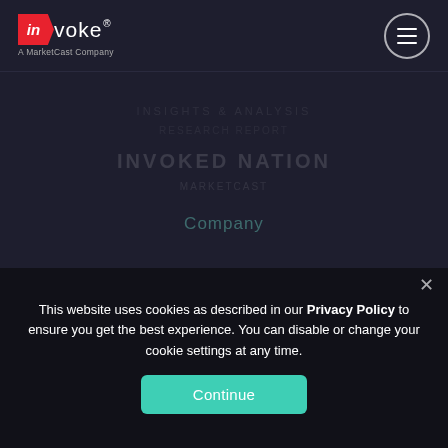[Figure (logo): Invoke - A MarketCast Company logo in top-left navigation bar; red arrow-shaped box with 'in' text and 'voke' beside it, subtitle reads 'A MarketCast Company']
[Figure (other): Hamburger menu button (three horizontal lines) inside a circle outline, top-right navigation]
[Figure (other): Dark background hero section with very faint/watermarked text in multiple lines including a large faded headline and the word 'Company' in teal]
This website uses cookies as described in our Privacy Policy to ensure you get the best experience. You can disable or change your cookie settings at any time.
Continue